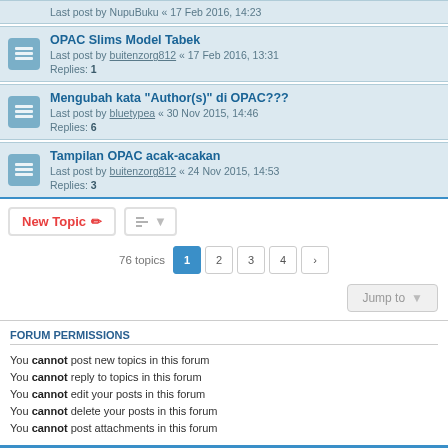Last post by NupuBuku « 17 Feb 2016, 14:23
OPAC Slims Model Tabek — Last post by buitenzorg812 « 17 Feb 2016, 13:31 — Replies: 1
Mengubah kata "Author(s)" di OPAC??? — Last post by bluetypea « 30 Nov 2015, 14:46 — Replies: 6
Tampilan OPAC acak-acakan — Last post by buitenzorg812 « 24 Nov 2015, 14:53 — Replies: 3
76 topics — Pages: 1 2 3 4 >
Jump to
FORUM PERMISSIONS
You cannot post new topics in this forum
You cannot reply to topics in this forum
You cannot edit your posts in this forum
You cannot delete your posts in this forum
You cannot post attachments in this forum
Board index — All times are UTC+07:00
Powered by phpBB® Forum Software © phpBB Limited